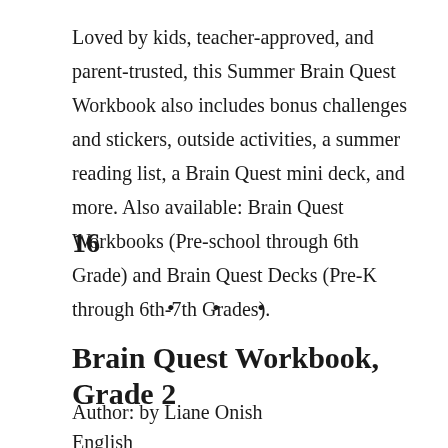Loved by kids, teacher-approved, and parent-trusted, this Summer Brain Quest Workbook also includes bonus challenges and stickers, outside activities, a summer reading list, a Brain Quest mini deck, and more. Also available: Brain Quest Workbooks (Pre-school through 6th Grade) and Brain Quest Decks (Pre-K through 6th-7th Grades).
16
• • •
Brain Quest Workbook, Grade 2
Author: by Liane Onish
English